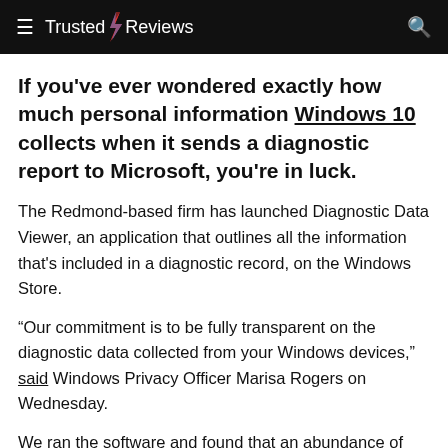Trusted Reviews
If you've ever wondered exactly how much personal information Windows 10 collects when it sends a diagnostic report to Microsoft, you're in luck.
The Redmond-based firm has launched Diagnostic Data Viewer, an application that outlines all the information that's included in a diagnostic record, on the Windows Store.
“Our commitment is to be fully transparent on the diagnostic data collected from your Windows devices,” said Windows Privacy Officer Marisa Rogers on Wednesday.
We ran the software and found that an abundance of sensitive information is bundled in reports, including a list